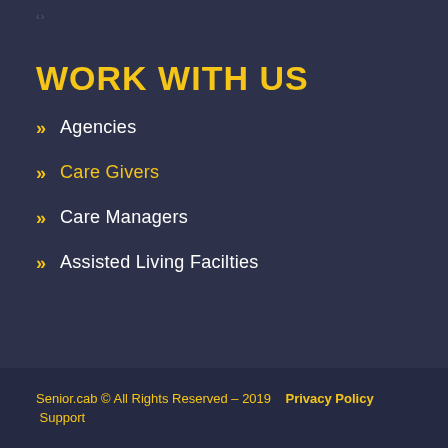WORK WITH US
Agencies
Care Givers
Care Managers
Assisted Living Facilties
Senior.cab © All Rights Reserved – 2019   Privacy Policy   Support